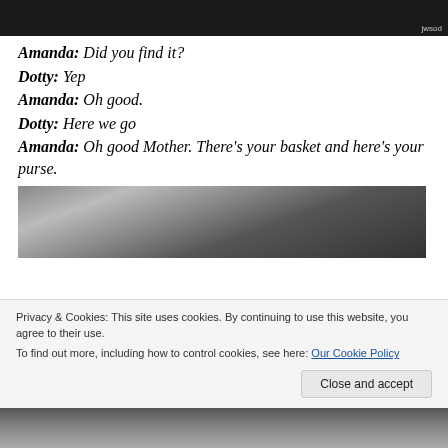[Figure (photo): Dark screenshot from a TV show, with 'jwsod' watermark at bottom right]
Amanda: Did you find it?
Dotty: Yep
Amanda: Oh good.
Dotty: Here we go
Amanda: Oh good Mother. There's your basket and here's your purse.
[Figure (photo): Screenshot from a TV show showing kitchen cabinets and a person's head]
Privacy & Cookies: This site uses cookies. By continuing to use this website, you agree to their use.
To find out more, including how to control cookies, see here: Our Cookie Policy
[Figure (photo): Partial screenshot at the bottom of the page]